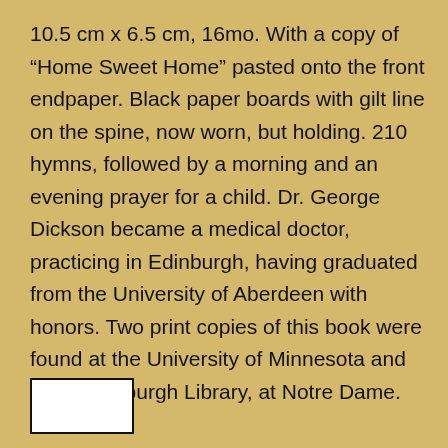10.5 cm x 6.5 cm, 16mo. With a copy of “Home Sweet Home” pasted onto the front endpaper. Black paper boards with gilt line on the spine, now worn, but holding. 210 hymns, followed by a morning and an evening prayer for a child. Dr. George Dickson became a medical doctor, practicing in Edinburgh, having graduated from the University of Aberdeen with honors. Two print copies of this book were found at the University of Minnesota and in the Hesburgh Library, at Notre Dame.
[Figure (other): White rectangular image placeholder with black border at bottom left of page]